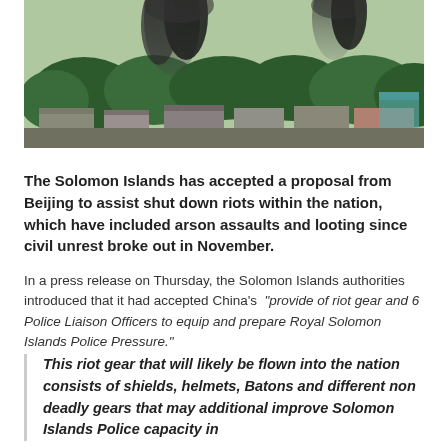[Figure (photo): Aerial view of a town with dark smoke rising in the background, surrounded by trees and buildings with metal roofs, suggesting civil unrest or fire.]
The Solomon Islands has accepted a proposal from Beijing to assist shut down riots within the nation, which have included arson assaults and looting since civil unrest broke out in November.
In a press release on Thursday, the Solomon Islands authorities introduced that it had accepted China's "provide of riot gear and 6 Police Liaison Officers to equip and prepare Royal Solomon Islands Police Pressure."
This riot gear that will likely be flown into the nation consists of shields, helmets, Batons and different non deadly gears that may additional improve Solomon Islands Police capacity in